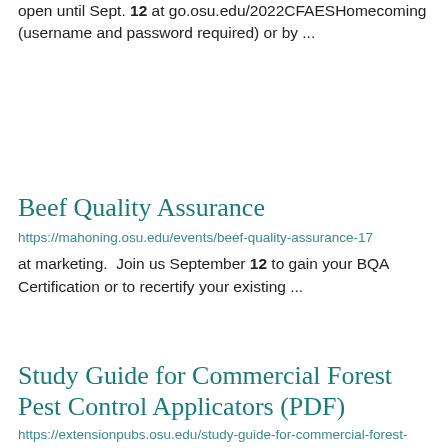open until Sept. 12 at go.osu.edu/2022CFAESHomecoming (username and password required) or by ...
Beef Quality Assurance
https://mahoning.osu.edu/events/beef-quality-assurance-17
at marketing.  Join us September 12 to gain your BQA Certification or to recertify your existing ...
Study Guide for Commercial Forest Pest Control Applicators (PDF)
https://extensionpubs.osu.edu/study-guide-for-commercial-forest-pest-control-applicators-pdf/
https://extensionpubs.osu.edu/study-guide-...